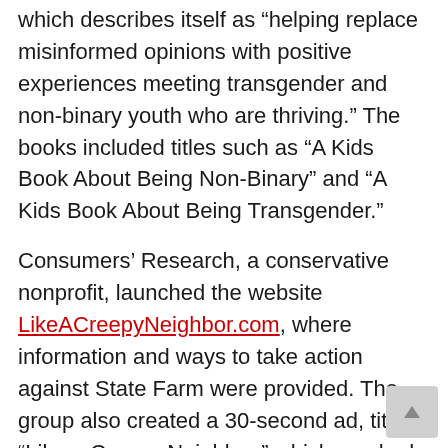which describes itself as “helping replace misinformed opinions with positive experiences meeting transgender and non-binary youth who are thriving.” The books included titles such as “A Kids Book About Being Non-Binary” and “A Kids Book About Being Transgender.”
Consumers’ Research, a conservative nonprofit, launched the website LikeACreepyNeighbor.com, where information and ways to take action against State Farm were provided. The group also created a 30-second ad, titled, “Like a Creepy Neighbor,” which mocked the company’s slogan, and began with a narrator declaring that State Farm says it’s a good neighbor before asking, “But would a good neighbor